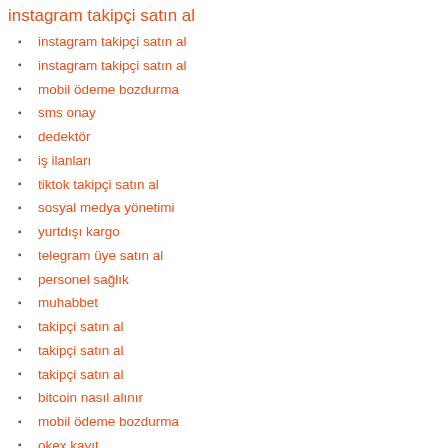instagram takipçi satın al
instagram takipçi satın al
instagram takipçi satın al
mobil ödeme bozdurma
sms onay
dedektör
iş ilanları
tiktok takipçi satın al
sosyal medya yönetimi
yurtdışı kargo
telegram üye satın al
personel sağlık
muhabbet
takipçi satın al
takipçi satın al
takipçi satın al
bitcoin nasıl alınır
mobil ödeme bozdurma
okex kayıt
ehliyet sınav soruları